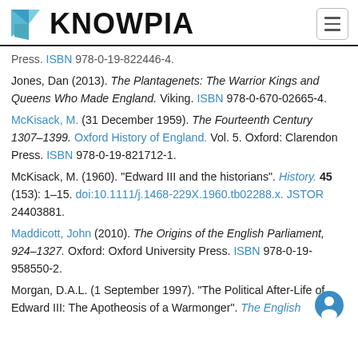KNOWPIA
Press. ISBN 978-0-19-822446-4.
Jones, Dan (2013). The Plantagenets: The Warrior Kings and Queens Who Made England. Viking. ISBN 978-0-670-02665-4.
McKisack, M. (31 December 1959). The Fourteenth Century 1307–1399. Oxford History of England. Vol. 5. Oxford: Clarendon Press. ISBN 978-0-19-821712-1.
McKisack, M. (1960). "Edward III and the historians". History. 45 (153): 1–15. doi:10.1111/j.1468-229X.1960.tb02288.x. JSTOR 24403881.
Maddicott, John (2010). The Origins of the English Parliament, 924–1327. Oxford: Oxford University Press. ISBN 978-0-19-958550-2.
Morgan, D.A.L. (1 September 1997). "The Political After-Life of Edward III: The Apotheosis of a Warmonger". The English